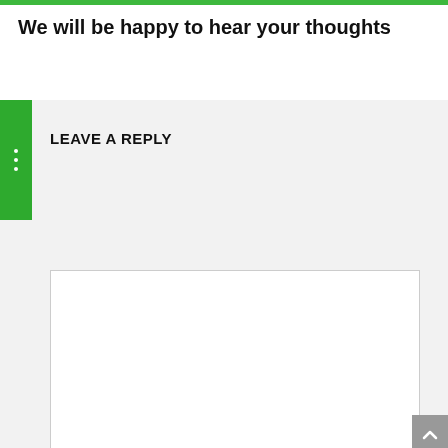We will be happy to hear your thoughts
LEAVE A REPLY
[Figure (screenshot): A comment/reply form with a large textarea for comment text and a name input field with a user icon. A green sidebar with three dots is on the left. A gray scroll-to-top button is on the right.]